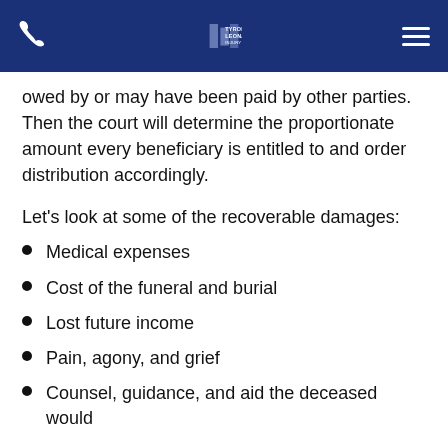Tyroler Leonard Injury Law (navigation bar with phone icon, logo, and menu icon)
owed by or may have been paid by other parties. Then the court will determine the proportionate amount every beneficiary is entitled to and order distribution accordingly.
Let's look at some of the recoverable damages:
Medical expenses
Cost of the funeral and burial
Lost future income
Pain, agony, and grief
Counsel, guidance, and aid the deceased would